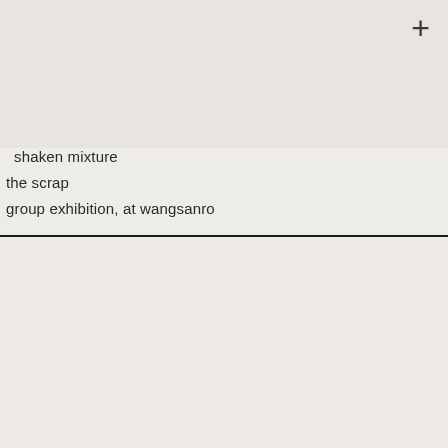[Figure (other): Light grey/beige rectangular image area at top of page with a plus (+) button in the upper right corner]
shaken mixture
the scrap
group exhibition, at wangsanro